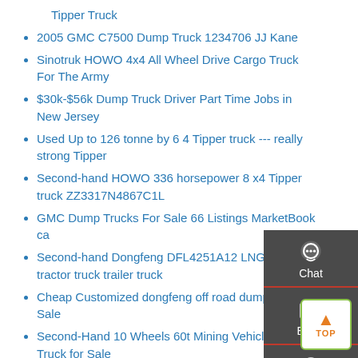Tipper Truck
2005 GMC C7500 Dump Truck 1234706 JJ Kane
Sinotruk HOWO 4x4 All Wheel Drive Cargo Truck For The Army
$30k-$56k Dump Truck Driver Part Time Jobs in New Jersey
Used Up to 126 tonne by 6 4 Tipper truck --- really strong Tipper
Second-hand HOWO 336 horsepower 8 x4 Tipper truck ZZ3317N4867C1L
GMC Dump Trucks For Sale 66 Listings MarketBook ca
Second-hand Dongfeng DFL4251A12 LNG CNG tractor truck trailer truck
Cheap Customized dongfeng off road dump truck for Sale
Second-Hand 10 Wheels 60t Mining Vehicles Dump Truck for Sale
Second-Hand Hanguan Ganluan 6X4 Discharging...